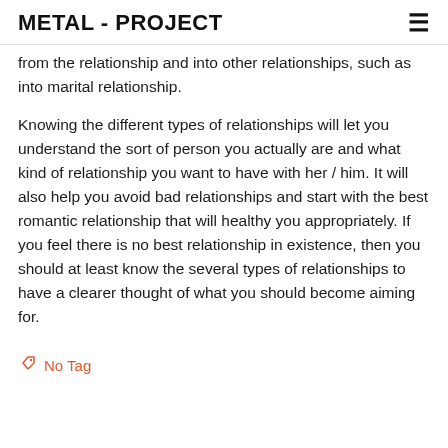METAL - PROJECT
from the relationship and into other relationships, such as into marital relationship.
Knowing the different types of relationships will let you understand the sort of person you actually are and what kind of relationship you want to have with her / him. It will also help you avoid bad relationships and start with the best romantic relationship that will healthy you appropriately. If you feel there is no best relationship in existence, then you should at least know the several types of relationships to have a clearer thought of what you should become aiming for.
No Tag